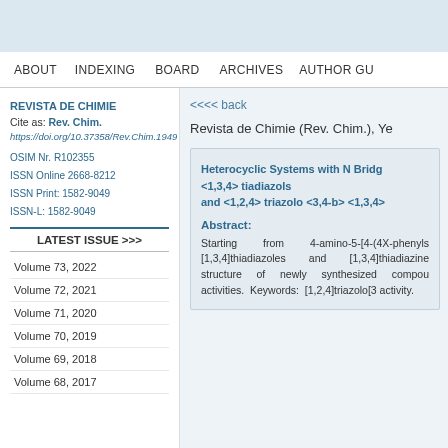ABOUT   INDEXING   BOARD   ARCHIVES   AUTHOR GU
REVISTA DE CHIMIE
Cite as: Rev. Chim.
https://doi.org/10.37358/Rev.Chim.1949

OSIM Nr. R102355
ISSN Online 2668-8212
ISSN Print: 1582-9049
ISSN-L: 1582-9049
LATEST ISSUE >>>
Volume 73, 2022
Volume 72, 2021
Volume 71, 2020
Volume 70, 2019
Volume 69, 2018
Volume 68, 2017
<<<< back
Revista de Chimie (Rev. Chim.), Ye
Heterocyclic Systems with N Bridg <1,3,4> tiadiazols and <1,2,4> triazolo <3,4-b> <1,3,4>
Abstract:
Starting from 4-amino-5-[4-(4X-phenyls [1,3,4]thiadiazoles and [1,3,4]thiadiazine structure of newly synthesized compou activities. Keywords: [1,2,4]triazolo[3 activity.